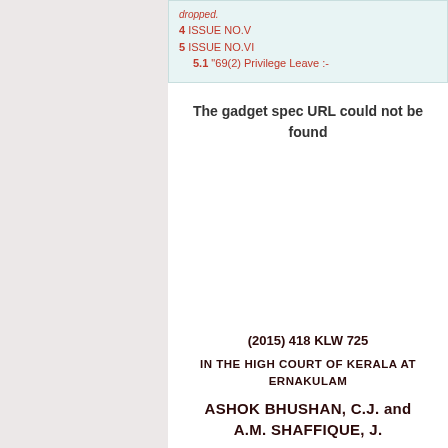dropped.
4 ISSUE NO.V
5 ISSUE NO.VI
5.1 "69(2) Privilege Leave :-
The gadget spec URL could not be found
(2015) 418 KLW 725
IN THE HIGH COURT OF KERALA AT ERNAKULAM
ASHOK BHUSHAN, C.J. and A.M. SHAFFIQUE, J.